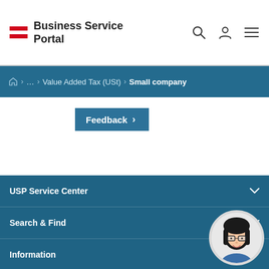Business Service Portal
… > Value Added Tax (USt) > Small company
Feedback >
USP Service Center
Search & Find
Information
About usp.gv.at
[Figure (illustration): Cartoon avatar of a woman with dark hair, glasses, and a smile in a circular frame]